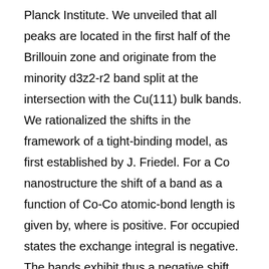Planck Institute. We unveiled that all peaks are located in the first half of the Brillouin zone and originate from the minority d3z2-r2 band split at the intersection with the Cu(111) bulk bands. We rationalized the shifts in the framework of a tight-binding model, as first established by J. Friedel. For a Co nanostructure the shift of a band as a function of Co-Co atomic-bond length is given by, where is positive. For occupied states the exchange integral is negative. The bands exhibit thus a negative shift, which varies linearly with the Co-Co bond length [1]. A downward shift was also observed when